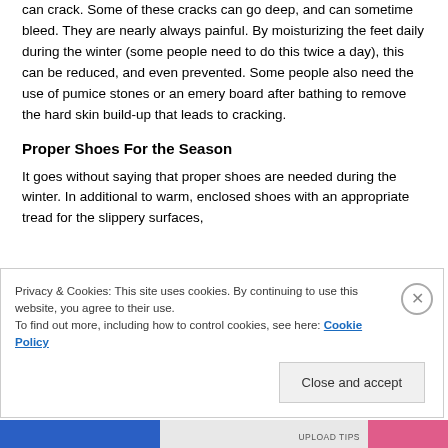can crack. Some of these cracks can go deep, and can sometime bleed. They are nearly always painful. By moisturizing the feet daily during the winter (some people need to do this twice a day), this can be reduced, and even prevented. Some people also need the use of pumice stones or an emery board after bathing to remove the hard skin build-up that leads to cracking.
Proper Shoes For the Season
It goes without saying that proper shoes are needed during the winter. In additional to warm, enclosed shoes with an appropriate tread for the slippery surfaces,
Privacy & Cookies: This site uses cookies. By continuing to use this website, you agree to their use.
To find out more, including how to control cookies, see here: Cookie Policy